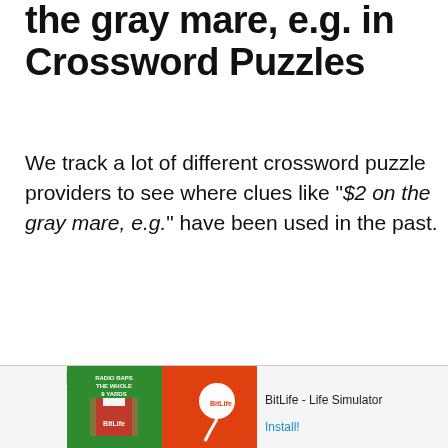the gray mare, e.g. in Crossword Puzzles
We track a lot of different crossword puzzle providers to see where clues like "$2 on the gray mare, e.g." have been used in the past.
[Figure (other): Advertisement banner for BitLife - Life Simulator app, showing a soccer jersey graphic on green and red background, with 'Ad' label, app name 'BitLife - Life Simulator' and 'Install!' button]